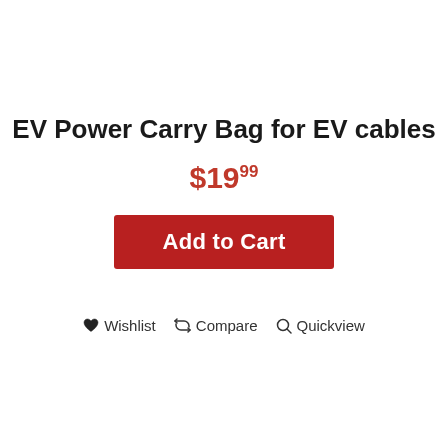EV Power Carry Bag for EV cables
$19.99
Add to Cart
Wishlist   Compare   Quickview